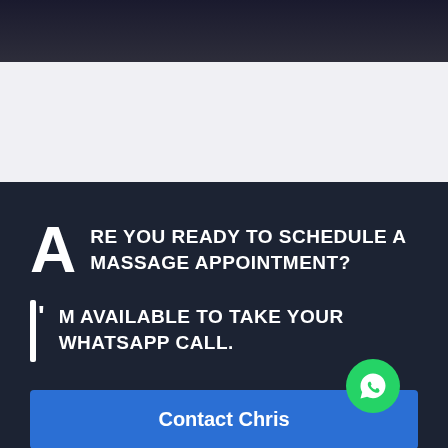[Figure (screenshot): Dark header banner area at top of webpage]
[Figure (screenshot): Light gray mid section of webpage]
ARE YOU READY TO SCHEDULE A MASSAGE APPOINTMENT?
I'M AVAILABLE TO TAKE YOUR WHATSAPP CALL.
Contact Chris